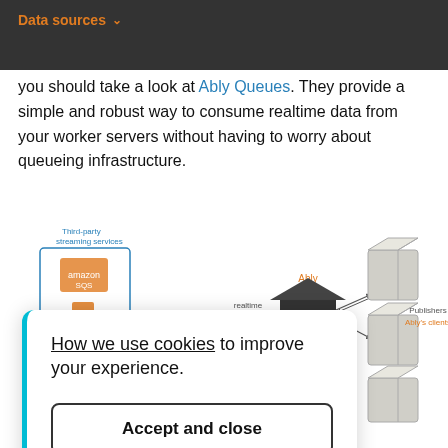Data sources
you should take a look at Ably Queues. They provide a simple and robust way to consume realtime data from your worker servers without having to worry about queueing infrastructure.
[Figure (infographic): Architecture diagram showing third-party streaming services (Amazon SQS) on the left, connected via 'realtime data stream' to an Ably hub in the center, which connects to publisher boxes (Ably's clients) on the right.]
How we use cookies to improve your experience.
Accept and close